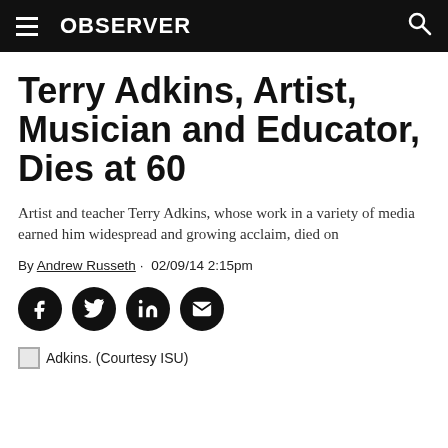OBSERVER
Terry Adkins, Artist, Musician and Educator, Dies at 60
Artist and teacher Terry Adkins, whose work in a variety of media earned him widespread and growing acclaim, died on
By Andrew Russeth · 02/09/14 2:15pm
[Figure (other): Social share buttons: Facebook, Twitter, LinkedIn, Email]
Adkins. (Courtesy ISU)